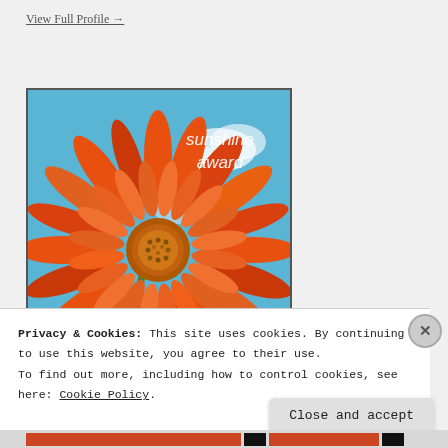View Full Profile →
[Figure (photo): Orange gerbera daisy flower against blue sky background with text 'sunshine award' in white letters in upper right corner]
Privacy & Cookies: This site uses cookies. By continuing to use this website, you agree to their use.
To find out more, including how to control cookies, see here: Cookie Policy.